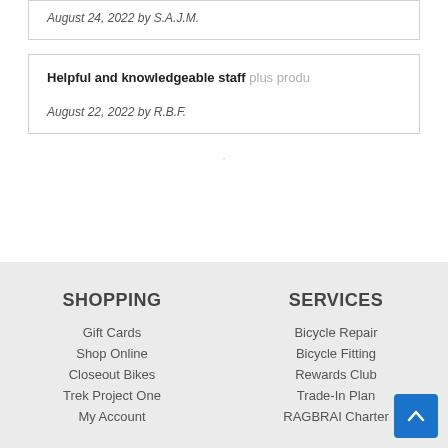August 24, 2022 by S.A.J.M.
Helpful and knowledgeable staff plus produ…
August 22, 2022 by R.B.F.
SHOPPING
Gift Cards
Shop Online
Closeout Bikes
Trek Project One
My Account
SERVICES
Bicycle Repair
Bicycle Fitting
Rewards Club
Trade-In Plan
RAGBRAI Charter